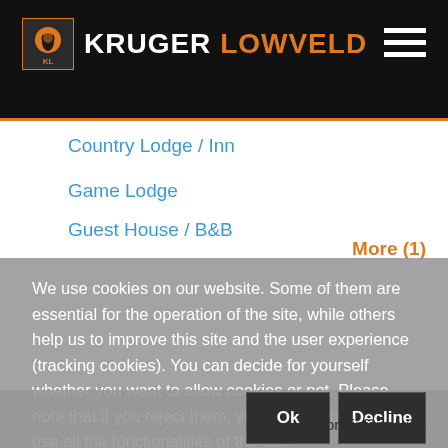KRUGER LOWVELD
Country Lodge / Inn
Game Lodge
Guest House / B&B
More (1)
We use cookies on our website. Some of them are essential for the operation of the site, while others help us to improve this site and the user experience (tracking cookies). You can decide for yourself whether you want to allow cookies or not. Please note that if you reject them, you may not be able to use all the functionalities of the site.
Ok
Decline
More information